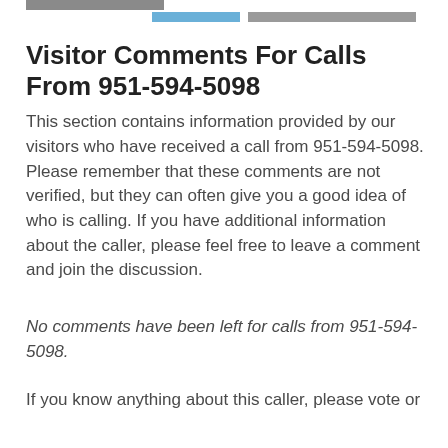Visitor Comments For Calls From 951-594-5098
This section contains information provided by our visitors who have received a call from 951-594-5098. Please remember that these comments are not verified, but they can often give you a good idea of who is calling. If you have additional information about the caller, please feel free to leave a comment and join the discussion.
No comments have been left for calls from 951-594-5098.
If you know anything about this caller, please vote or